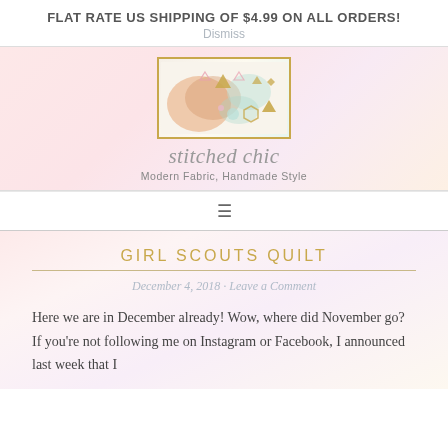FLAT RATE US SHIPPING OF $4.99 ON ALL ORDERS!
Dismiss
[Figure (logo): Stitched Chic logo with decorative geometric shapes in gold, pink and mint above script text reading 'stitched chic' and tagline 'Modern Fabric, Handmade Style']
≡
GIRL SCOUTS QUILT
December 4, 2018 · Leave a Comment
Here we are in December already! Wow, where did November go? If you're not following me on Instagram or Facebook, I announced last week that I